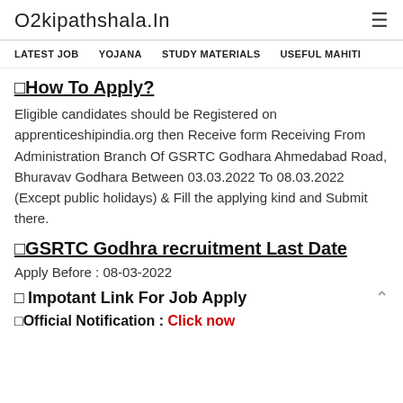O2kipathshala.In
LATEST JOB   YOJANA   STUDY MATERIALS   USEFUL MAHITI
🔲How To Apply?
Eligible candidates should be Registered on apprenticeshipindia.org then Receive form Receiving From Administration Branch Of GSRTC Godhara Ahmedabad Road, Bhuravav Godhara Between 03.03.2022 To 08.03.2022 (Except public holidays) & Fill the applying kind and Submit there.
🔲GSRTC Godhra recruitment Last Date
Apply Before : 08-03-2022
🔲 Impotant Link For Job Apply
🔲Official Notification : Click now